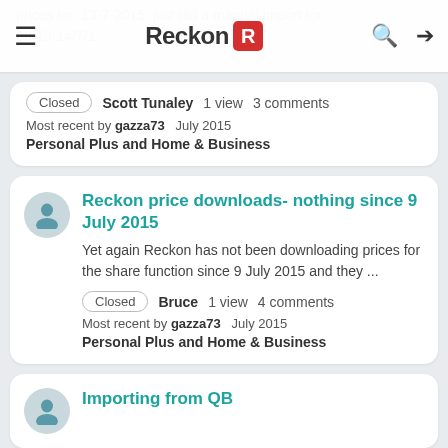Reckon R
prices for: 13-7-2015. just did a manual import for 09-13-14/7/1...
Closed  Scott Tunaley  1 view  3 comments
Most recent by gazza73  July 2015
Personal Plus and Home & Business
Reckon price downloads- nothing since 9 July 2015
Yet again Reckon has not been downloading prices for the share function since 9 July 2015 and they ...
Closed  Bruce  1 view  4 comments
Most recent by gazza73  July 2015
Personal Plus and Home & Business
Importing from QB